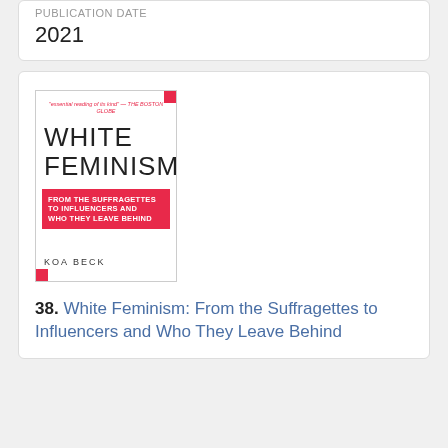PUBLICATION DATE
2021
[Figure (illustration): Book cover of White Feminism: From the Suffragettes to Influencers and Who They Leave Behind by Koa Beck. White cover with large light gray text 'WHITE FEMINISM', a red brushstroke graphic with subtitle text, and red corner accents.]
38. White Feminism: From the Suffragettes to Influencers and Who They Leave Behind